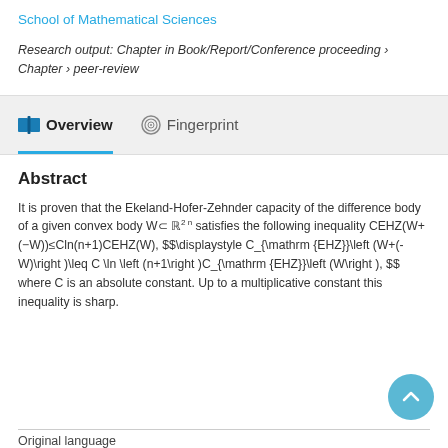School of Mathematical Sciences
Research output: Chapter in Book/Report/Conference proceeding › Chapter › peer-review
Overview   Fingerprint
Abstract
It is proven that the Ekeland-Hofer-Zehnder capacity of the difference body of a given convex body W⊂ ℝ2 n satisfies the following inequality CEHZ(W+(−W))≤Cln(n+1)CEHZ(W), $$\displaystyle C_{\mathrm {EHZ}}\left (W+(-W)\right )\leq C \ln \left (n+1\right )C_{\mathrm {EHZ}}\left (W\right ), $$ where C is an absolute constant. Up to a multiplicative constant this inequality is sharp.
Original language